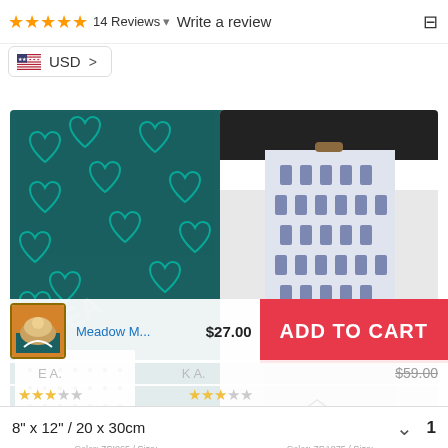★★★★★  14 Reviews ▾   Write a review
USD >
[Figure (photo): Diamond painting kit laid out on a teal heart-patterned fabric, showing canvas with dot grid, small packets of diamond beads, and tools]
[Figure (photo): Blue and white damask-patterned tall fabric storage box/organizer standing upright on a white surface near a desk]
Meadow M...   $27.00
ADD TO CART
E A.
KA.
$59.00
8" x 12" / 20 x 30cm
Color: ZSI065 / Size:    Color: ZSA075 / Size: